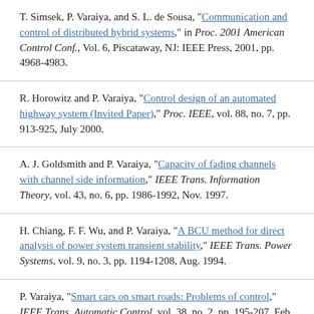T. Simsek, P. Varaiya, and S. L. de Sousa, "Communication and control of distributed hybrid systems," in Proc. 2001 American Control Conf., Vol. 6, Piscataway, NJ: IEEE Press, 2001, pp. 4968-4983.
R. Horowitz and P. Varaiya, "Control design of an automated highway system (Invited Paper)," Proc. IEEE, vol. 88, no. 7, pp. 913-925, July 2000.
A. J. Goldsmith and P. Varaiya, "Capacity of fading channels with channel side information," IEEE Trans. Information Theory, vol. 43, no. 6, pp. 1986-1992, Nov. 1997.
H. Chiang, F. F. Wu, and P. Varaiya, "A BCU method for direct analysis of power system transient stability," IEEE Trans. Power Systems, vol. 9, no. 3, pp. 1194-1208, Aug. 1994.
P. Varaiya, "Smart cars on smart roads: Problems of control," IEEE Trans. Automatic Control, vol. 38, no. 2, pp. 195-207, Feb. 1993.
P. Varaiya, "On the existence of solutions to a differential...